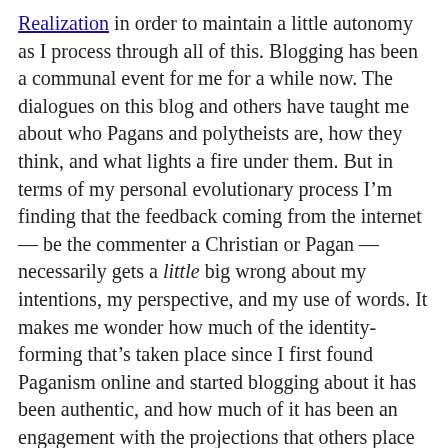Realization in order to maintain a little autonomy as I process through all of this. Blogging has been a communal event for me for a while now. The dialogues on this blog and others have taught me about who Pagans and polytheists are, how they think, and what lights a fire under them. But in terms of my personal evolutionary process I'm finding that the feedback coming from the internet — be the commenter a Christian or Pagan — necessarily gets a little big wrong about my intentions, my perspective, and my use of words. It makes me wonder how much of the identity-forming that's taken place since I first found Paganism online and started blogging about it has been authentic, and how much of it has been an engagement with the projections that others place on me.
This is the kind of stuff I think about while I'm waiting for my eggs.
As important as it is for me to write through my experiences with this reawakening to God in Christ, it feels equally important for me to refrain from subjecting my spiritual life to an internet-wide workshopping session. It